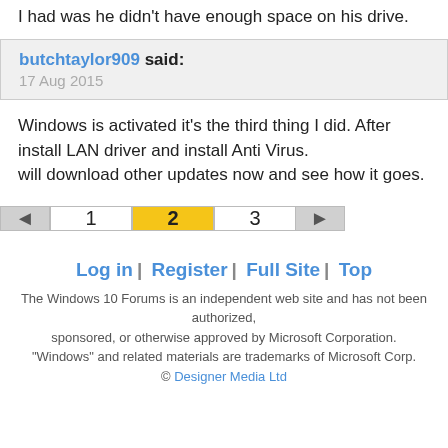I had was he didn't have enough space on his drive.
butchtaylor909 said:
17 Aug 2015
Windows is activated it's the third thing I did. After install LAN driver and install Anti Virus.
will download other updates now and see how it goes.
◄  1  2  3  ►
Log in | Register | Full Site | Top
The Windows 10 Forums is an independent web site and has not been authorized, sponsored, or otherwise approved by Microsoft Corporation. "Windows" and related materials are trademarks of Microsoft Corp. © Designer Media Ltd